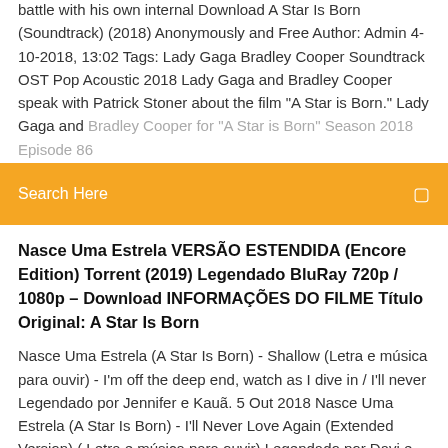battle with his own internal Download A Star Is Born (Soundtrack) (2018) Anonymously and Free Author: Admin 4-10-2018, 13:02 Tags: Lady Gaga Bradley Cooper Soundtrack OST Pop Acoustic 2018 Lady Gaga and Bradley Cooper speak with Patrick Stoner about the film "A Star is Born." Lady Gaga and Bradley Cooper for "A Star is Born" Season 2018 Episode 86
Search Here
Nasce Uma Estrela VERSÃO ESTENDIDA (Encore Edition) Torrent (2019) Legendado BluRay 720p / 1080p – Download INFORMAÇÕES DO FILME Título Original: A Star Is Born
Nasce Uma Estrela (A Star Is Born) - Shallow (Letra e música para ouvir) - I'm off the deep end, watch as I dive in / I'll never Legendado por Jennifer e Kauã. 5 Out 2018 Nasce Uma Estrela (A Star Is Born) - I'll Never Love Again (Extended Version) ( Letra e música para ouvir) Legendado por Davi e Jennifer. Download Doom Patrol (Patrulha do Destino) – 1ª Temporada Dublado e